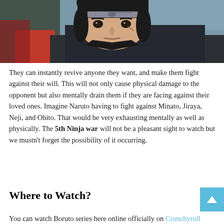[Figure (illustration): Anime character close-up from Boruto/Naruto series, wearing a dark headband and black outfit, with red accents in background. Character has a serious expression and a mark on their face.]
They can instantly revive anyone they want, and make them fight against their will. This will not only cause physical damage to the opponent but also mentally drain them if they are facing against their loved ones. Imagine Naruto having to fight against Minato, Jiraya, Neji, and Obito. That would be very exhausting mentally as well as physically. The 5th Ninja war will not be a pleasant sight to watch but we mustn't forget the possibility of it occurring.
Where to Watch?
You can watch Boruto series here online officially on Crunchyroll